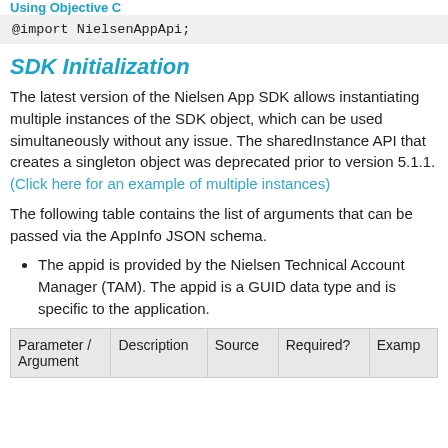Using Objective C
@import NielsenAppApi;
SDK Initialization
The latest version of the Nielsen App SDK allows instantiating multiple instances of the SDK object, which can be used simultaneously without any issue. The sharedInstance API that creates a singleton object was deprecated prior to version 5.1.1. (Click here for an example of multiple instances)
The following table contains the list of arguments that can be passed via the AppInfo JSON schema.
The appid is provided by the Nielsen Technical Account Manager (TAM). The appid is a GUID data type and is specific to the application.
| Parameter / Argument | Description | Source | Required? | Examp |
| --- | --- | --- | --- | --- |